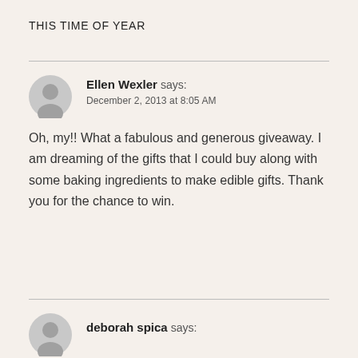THIS TIME OF YEAR
Ellen Wexler says:
December 2, 2013 at 8:05 AM

Oh, my!! What a fabulous and generous giveaway. I am dreaming of the gifts that I could buy along with some baking ingredients to make edible gifts. Thank you for the chance to win.
deborah spica says: